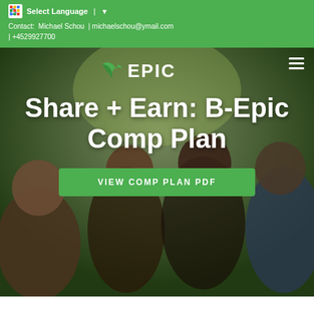Select Language | ▼
Contact: Michael Schou | michaelschou@ymail.com | +4529927700
[Figure (screenshot): B-Epic website hero section showing a family of four smiling outdoors, with B-Epic logo and navigation bar at top, large white bold text 'Share + Earn: B-Epic Comp Plan', and a green 'VIEW COMP PLAN PDF' button]
Share + Earn: B-Epic Comp Plan
VIEW COMP PLAN PDF